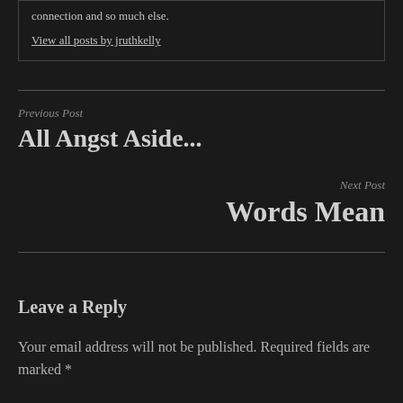connection and so much else.
View all posts by jruthkelly
Previous Post
All Angst Aside...
Next Post
Words Mean
Leave a Reply
Your email address will not be published. Required fields are marked *